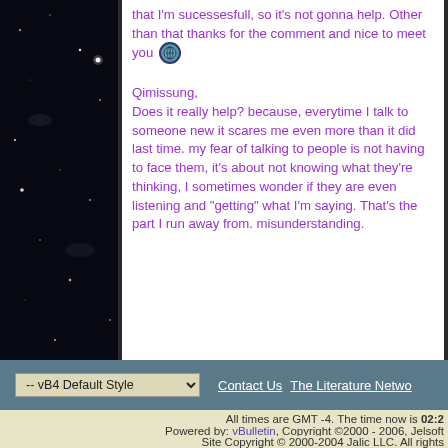that I'm sucessesfull, so it's not gonna help. Other than that thanks for the comment and nice to meet you [emoji]

Qimissung,
Does it really help? because, everytime I talk to someone new it scares me even more than it did last time. my fear of talking to people is not having to face them, it's about not knowing what they're thinking, I sometimes wonder if they are even listening and "getting" what I'm saying. That's the part I run away from. misunderstanding.
-- vB4 Default Style   Contact Us   The Literature Network   All times are GMT -4. The time now is 02:2   Powered by: vBulletin, Copyright ©2000 - 2006, Jelsoft   Site Copyright © 2000-2004 Jalic LLC. All rights